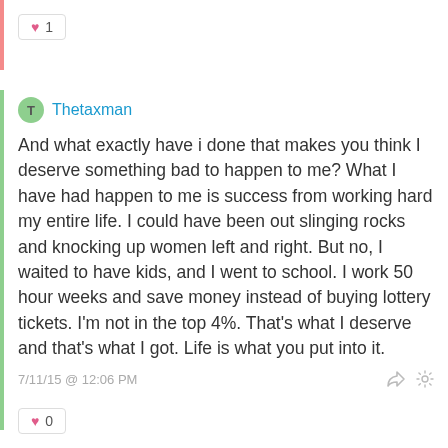♥ 1
Thetaxman
And what exactly have i done that makes you think I deserve something bad to happen to me? What I have had happen to me is success from working hard my entire life. I could have been out slinging rocks and knocking up women left and right. But no, I waited to have kids, and I went to school. I work 50 hour weeks and save money instead of buying lottery tickets. I'm not in the top 4%. That's what I deserve and that's what I got. Life is what you put into it.
7/11/15 @ 12:06 PM
♥ 0